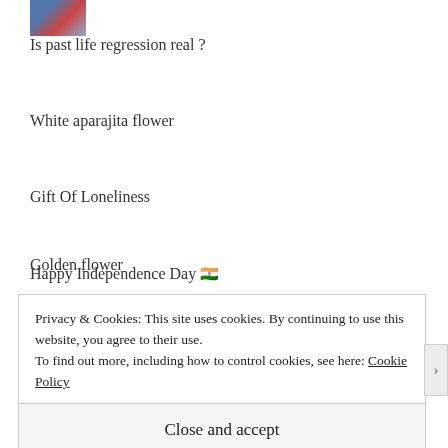[Figure (photo): Small thumbnail image showing a colorful scene (blue and red tones)]
Is past life regression real ?
White aparajita flower
Gift Of Loneliness
Golden flower
Happy Independence Day 🇮🇳
Privacy & Cookies: This site uses cookies. By continuing to use this website, you agree to their use.
To find out more, including how to control cookies, see here: Cookie Policy
Close and accept